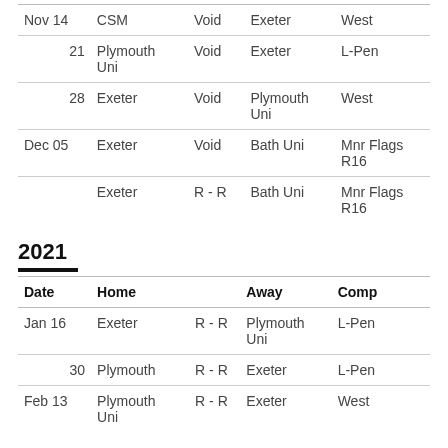| Nov 14 | CSM | Void | Exeter | West |
| 21 | Plymouth Uni | Void | Exeter | L-Pen |
| 28 | Exeter | Void | Plymouth Uni | West |
| Dec 05 | Exeter | Void | Bath Uni | Mnr Flags R16 |
|  | Exeter | R - R | Bath Uni | Mnr Flags R16 |
2021
| Date | Home |  | Away | Comp |
| --- | --- | --- | --- | --- |
| Jan 16 | Exeter | R - R | Plymouth Uni | L-Pen |
| 30 | Plymouth | R - R | Exeter | L-Pen |
| Feb 13 | Plymouth Uni | R - R | Exeter | West |